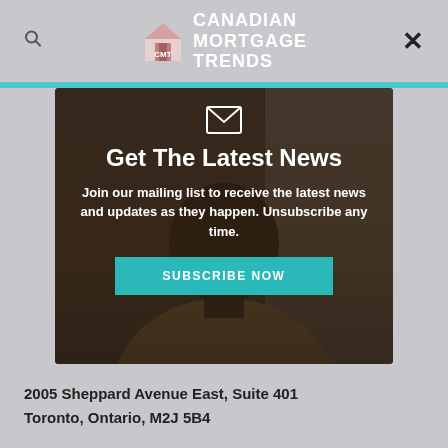CANADIAN MORTGAGE TRENDS
[Figure (photo): Modal popup overlay on a website showing a man looking at his phone, with email newsletter signup content. White envelope icon at top, title 'Get The Latest News', description text, and a teal Subscribe Now button.]
Get The Latest News
Join our mailing list to receive the latest news and updates as they happen. Unsubscribe any time.
SUBSCRIBE NOW
2005 Sheppard Avenue East, Suite 401
Toronto, Ontario, M2J 5B4